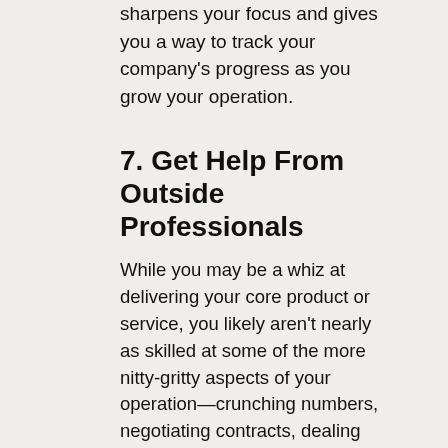sharpens your focus and gives you a way to track your company's progress as you grow your operation.
7. Get Help From Outside Professionals
While you may be a whiz at delivering your core product or service, you likely aren't nearly as skilled at some of the more nitty-gritty aspects of your operation—crunching numbers, negotiating contracts, dealing with insurance, and preparing your taxes. This is where you should seek the guidance and support of outside